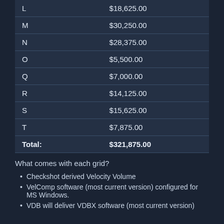|  |  |
| --- | --- |
| L | $18,625.00 |
| M | $30,250.00 |
| N | $28,375.00 |
| O | $5,500.00 |
| Q | $7,000.00 |
| R | $14,125.00 |
| S | $15,625.00 |
| T | $7,875.00 |
| Total: | $321,875.00 |
What comes with each grid?
Checkshot derived Velocity Volume
VelComp software (most current version) configured for MS Windows.
VDB will deliver VDBX software (most current version)